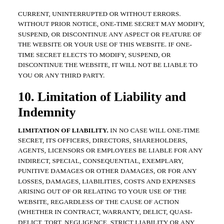CURRENT, UNINTERRUPTED OR WITHOUT ERRORS. WITHOUT PRIOR NOTICE, ONE-TIME SECRET MAY MODIFY, SUSPEND, OR DISCONTINUE ANY ASPECT OR FEATURE OF THE WEBSITE OR YOUR USE OF THIS WEBSITE. IF ONE-TIME SECRET ELECTS TO MODIFY, SUSPEND, OR DISCONTINUE THE WEBSITE, IT WILL NOT BE LIABLE TO YOU OR ANY THIRD PARTY.
10. Limitation of Liability and Indemnity
Limitation of Liability. IN NO CASE WILL ONE-TIME SECRET, ITS OFFICERS, DIRECTORS, SHAREHOLDERS, AGENTS, LICENSORS OR EMPLOYEES BE LIABLE FOR ANY INDIRECT, SPECIAL, CONSEQUENTIAL, EXEMPLARY, PUNITIVE DAMAGES OR OTHER DAMAGES, OR FOR ANY LOSSES, DAMAGES, LIABILITIES, COSTS AND EXPENSES ARISING OUT OF OR RELATING TO YOUR USE OF THE WEBSITE, REGARDLESS OF THE CAUSE OF ACTION (WHETHER IN CONTRACT, WARRANTY, DELICT, QUASI-DELICT, TORT, NEGLIGENCE, STRICT LIABILITY OR ANY OTHER THEORY OF LIABILITY) AND EVEN IF ONE-TIME SECRET HAS BEEN ADVISED OF THE POSSIBILITY OF SUCH DAMAGES. NOTHWITHSTANDING ANYTHING TO THE CONTRARY IN THESE TERMS OF USE, IN NO